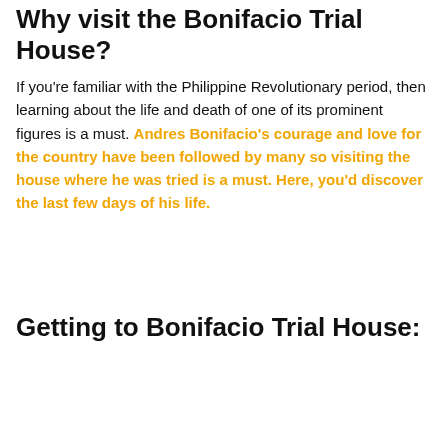Why visit the Bonifacio Trial House?
If you're familiar with the Philippine Revolutionary period, then learning about the life and death of one of its prominent figures is a must. Andres Bonifacio's courage and love for the country have been followed by many so visiting the house where he was tried is a must. Here, you'd discover the last few days of his life.
Getting to Bonifacio Trial House: